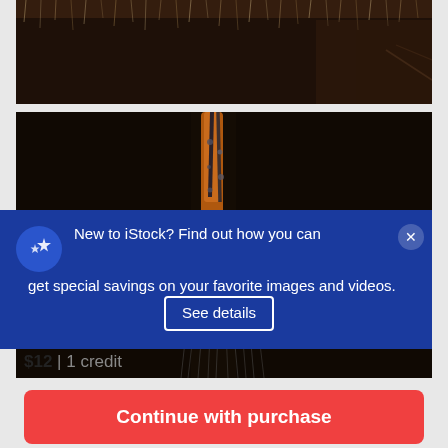[Figure (photo): Macro close-up photo of insect with fibrous texture visible against dark background]
[Figure (photo): Macro close-up photo of insect body parts with orange and dark coloring against dark background]
New to iStock? Find out how you can get special savings on your favorite images and videos. See details
$12 | 1 credit
Continue with purchase